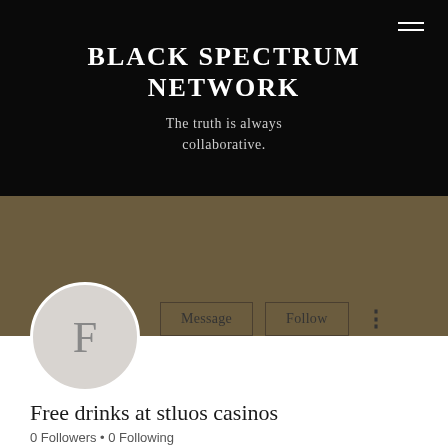BLACK SPECTRUM NETWORK
The truth is always collaborative.
[Figure (screenshot): Social network profile page for 'Free drinks at stluos casinos' on Black Spectrum Network. Shows black header with site title and hamburger menu, brown/olive banner, circular avatar with letter F, Message and Follow buttons, profile name and follower stats.]
Free drinks at stluos casinos
0 Followers • 0 Following